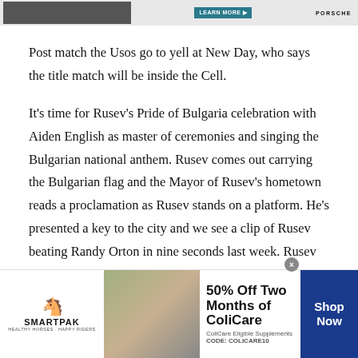[Figure (other): Top advertisement banner with car image, 'LEARN MORE' button, and Porsche logo]
Post match the Usos go to yell at New Day, who says the title match will be inside the Cell.
It's time for Rusev's Pride of Bulgaria celebration with Aiden English as master of ceremonies and singing the Bulgarian national anthem. Rusev comes out carrying the Bulgarian flag and the Mayor of Rusev's hometown reads a proclamation as Rusev stands on a platform. He's presented a key to the city and we see a clip of Rusev beating Randy Orton in nine seconds last week. Rusev talks about the Lion of Bulgaria ripping the fangs from the Viper's mouth. It's his jungle now and English sings a special
[Figure (other): SmartPak advertisement banner: 50% Off Two Months of ColiCare, ColiCare Eligible Supplements, CODE: COLICARE10, with Shop Now button]